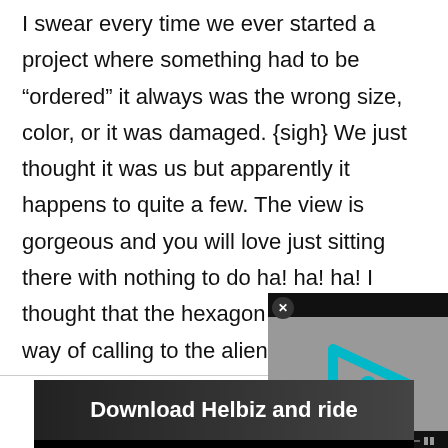I swear every time we ever started a project where something had to be “ordered” it always was the wrong size, color, or it was damaged. {sigh} We just thought it was us but apparently it happens to quite a few. The view is gorgeous and you will love just sitting there with nothing to do ha! ha! ha! I thought that the hexagon /circle was your way of calling to the aliens for hel
[Figure (screenshot): Video player overlay with a teal/cyan play button logo on dark background, with close button and playback controls]
[Figure (photo): Advertisement banner: Download Helbiz and ride, showing person riding a scooter]